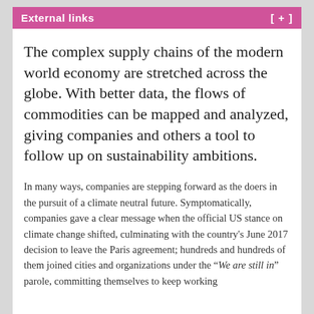External links [ + ]
The complex supply chains of the modern world economy are stretched across the globe. With better data, the flows of commodities can be mapped and analyzed, giving companies and others a tool to follow up on sustainability ambitions.
In many ways, companies are stepping forward as the doers in the pursuit of a climate neutral future. Symptomatically, companies gave a clear message when the official US stance on climate change shifted, culminating with the country's June 2017 decision to leave the Paris agreement; hundreds and hundreds of them joined cities and organizations under the “We are still in” parole, committing themselves to keep working